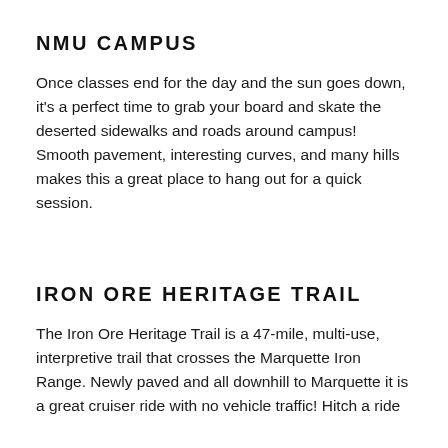NMU CAMPUS
Once classes end for the day and the sun goes down, it's a perfect time to grab your board and skate the deserted sidewalks and roads around campus! Smooth pavement, interesting curves, and many hills makes this a great place to hang out for a quick session.
IRON ORE HERITAGE TRAIL
The Iron Ore Heritage Trail is a 47-mile, multi-use, interpretive trail that crosses the Marquette Iron Range. Newly paved and all downhill to Marquette it is a great cruiser ride with no vehicle traffic! Hitch a ride